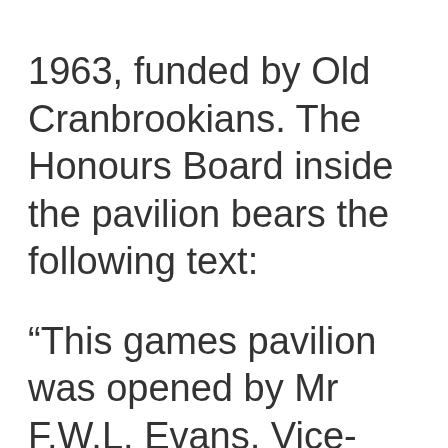1963, funded by Old Cranbrookians. The Honours Board inside the pavilion bears the following text:
“This games pavilion was opened by Mr F.W.L. Evans, Vice-